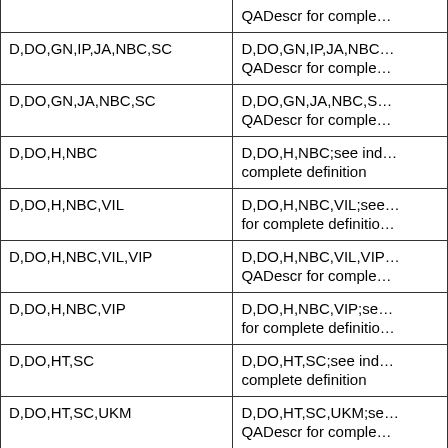| Code | Description |
| --- | --- |
|  | QADescr for comple... |
| D,DO,GN,IP,JA,NBC,SC | D,DO,GN,IP,JA,NBC,...
QADescr for comple... |
| D,DO,GN,JA,NBC,SC | D,DO,GN,JA,NBC,S...
QADescr for comple... |
| D,DO,H,NBC | D,DO,H,NBC;see ind...
complete definition |
| D,DO,H,NBC,VIL | D,DO,H,NBC,VIL;see...
for complete definitio... |
| D,DO,H,NBC,VIL,VIP | D,DO,H,NBC,VIL,VIP...
QADescr for comple... |
| D,DO,H,NBC,VIP | D,DO,H,NBC,VIP;se...
for complete definitio... |
| D,DO,HT,SC | D,DO,HT,SC;see ind...
complete definition |
| D,DO,HT,SC,UKM | D,DO,HT,SC,UKM;se...
QADescr for comple... |
| D,DO,IE,IP,NBC,NRL | D,DO,IE,IP,NBC,NRL...
QADescr for comple... |
| D,DO,IE,IP,NBC,NRL,VIL | D,DO,IE,IP,NBC,NRL...
QADescr for comple... |
| D,DO,IL | D,DO,IL;see individu... |